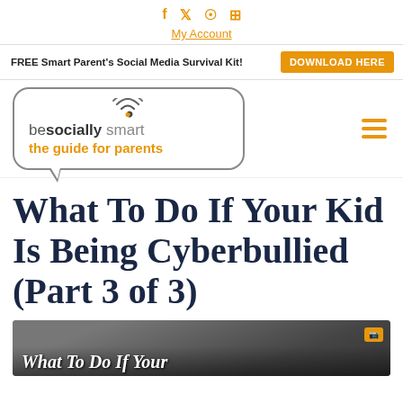f  𝕏  ⊕  ⊙   My Account
FREE Smart Parent's Social Media Survival Kit!  DOWNLOAD HERE
[Figure (logo): be socially smart the guide for parents logo in a speech bubble with wifi icon]
What To Do If Your Kid Is Being Cyberbullied (Part 3 of 3)
[Figure (photo): Dark grayscale photo of a child with a phone, with overlay text 'What To Do If Your Kid' at the bottom]